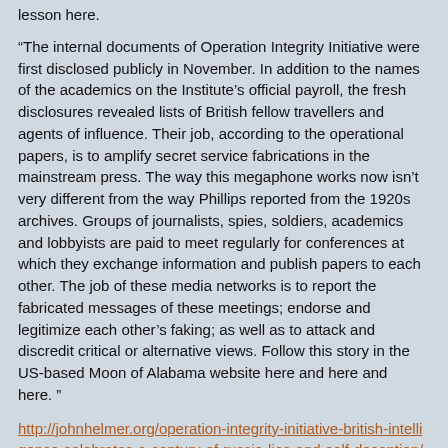lesson here.
“The internal documents of Operation Integrity Initiative were first disclosed publicly in November. In addition to the names of the academics on the Institute’s official payroll, the fresh disclosures revealed lists of British fellow travellers and agents of influence. Their job, according to the operational papers, is to amplify secret service fabrications in the mainstream press. The way this megaphone works now isn’t very different from the way Phillips reported from the 1920s archives. Groups of journalists, spies, soldiers, academics and lobbyists are paid to meet regularly for conferences at which they exchange information and publish papers to each other. The job of these media networks is to report the fabricated messages of these meetings; endorse and legitimize each other’s faking; as well as to attack and discredit critical or alternative views. Follow this story in the US-based Moon of Alabama website here and here and here. ”
http://johnhelmer.org/operation-integrity-initiative-british-intelligence-celebrates-a-century-of-russia-lies-and-self-deception/#more-20240
Posted by: JohninMK | Jan 14 2019 23:43 utc | 106
« previous page